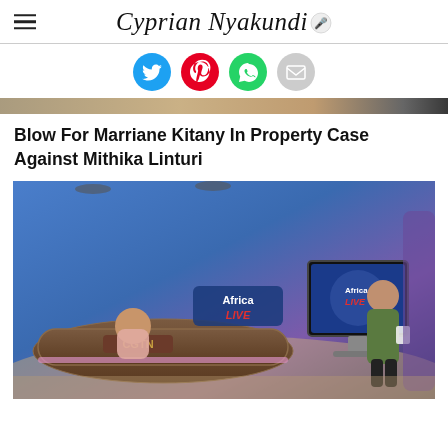Cyprian Nyakundi
[Figure (illustration): Social media share buttons: Twitter (blue circle), Pinterest (red circle), WhatsApp (green circle), Email (grey circle)]
[Figure (photo): Partial crop of a previous image, showing warm tones]
Blow For Marriane Kitany In Property Case Against Mithika Linturi
[Figure (photo): CGTN Africa Live TV studio with two women, one seated at the anchor desk and one standing near a monitor showing Africa Live logo]